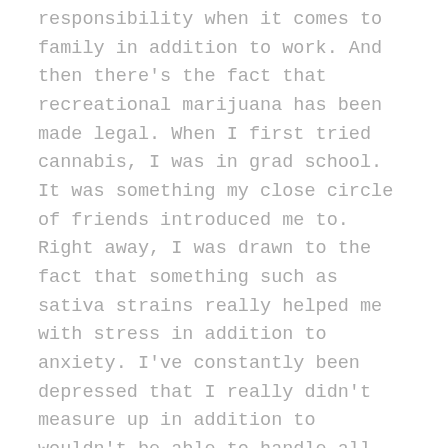responsibility when it comes to family in addition to work. And then there's the fact that recreational marijuana has been made legal. When I first tried cannabis, I was in grad school. It was something my close circle of friends introduced me to. Right away, I was drawn to the fact that something such as sativa strains really helped me with stress in addition to anxiety. I've constantly been depressed that I really didn't measure up in addition to wouldn't be able to handle all the stuff that goes along with being an adult. That was recognizably the case when I was in grad school. I got through it by hook or by crook, but I was genuinely out of our league. Thankfully, I smoked sativa in addition to indica to help me out back then. But once I got into our career, got married in addition to started a family, I put away the marijuana. Again, it felt that what I was supposed to